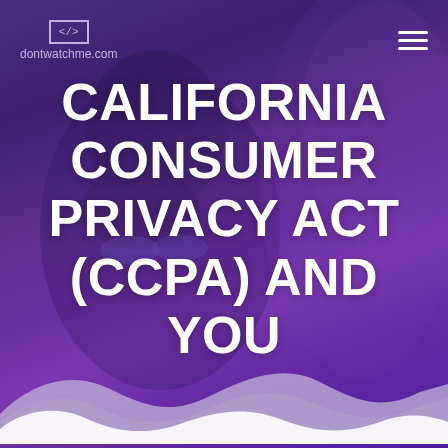[Figure (illustration): Purple-tinted background photograph of a person wearing glasses looking at a screen, with a purple gradient overlay creating a dark violet atmosphere. Decorative wave shapes at the bottom in white and light gray.]
</> dontwatchme.com
CALIFORNIA CONSUMER PRIVACY ACT (CCPA) AND YOU